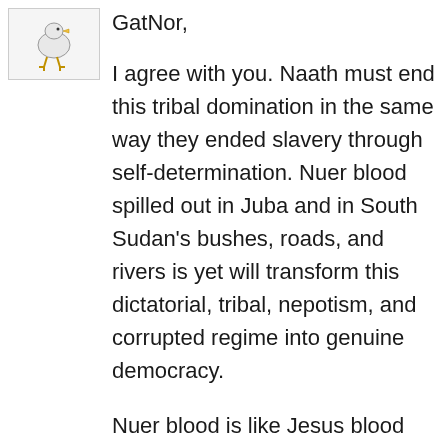[Figure (illustration): Small cartoon avatar/icon of a bird-like figure with yellow feet, inside a light gray bordered box]
GatNor,
I agree with you. Naath must end this tribal domination in the same way they ended slavery through self-determination. Nuer blood spilled out in Juba and in South Sudan's bushes, roads, and rivers is yet will transform this dictatorial, tribal, nepotism, and corrupted regime into genuine democracy.
Nuer blood is like Jesus blood which freed men from sin. Jesus blood freed men from sin. Nuer blood freed South Sudanese from slavery through self-determination. The same Nuer blood which freed South Sudanese from slavery is going to freed